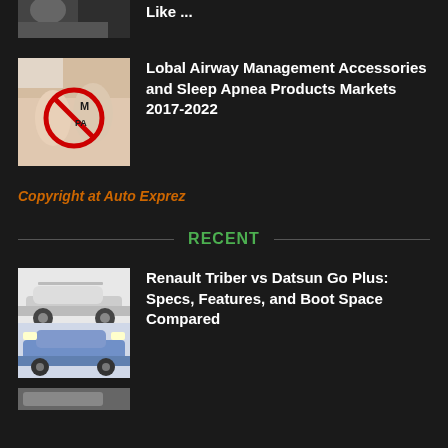[Figure (photo): Partial view of a person, car visible, top of page cut off]
Like ...
[Figure (photo): Medical image showing hands with a red circle-slash symbol, text M and PA visible]
Lobal Airway Management Accessories and Sleep Apnea Products Markets 2017-2022
Copyright at Auto Exprez
RECENT
[Figure (photo): Two cars: white Renault Triber SUV on top, blue Datsun Go Plus on bottom]
Renault Triber vs Datsun Go Plus: Specs, Features, and Boot Space Compared
[Figure (photo): Partial image of another car article at bottom of page]